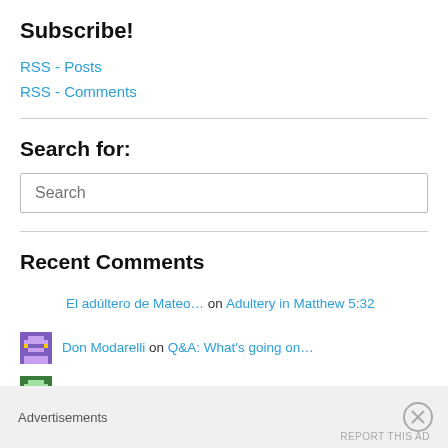Subscribe!
RSS - Posts
RSS - Comments
Search for:
Recent Comments
El adúltero de Mateo… on Adultery in Matthew 5:32
Don Modarelli on Q&A: What's going on...
Byron on Making Jesus the "Human...
Advertisements